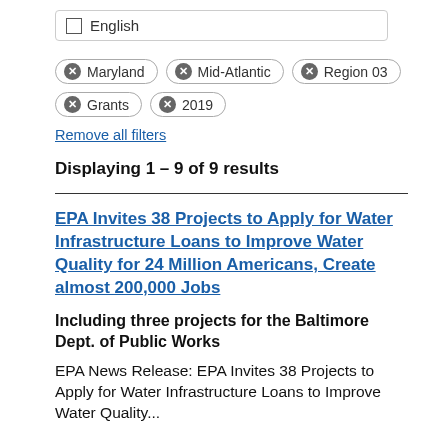English
Maryland
Mid-Atlantic
Region 03
Grants
2019
Remove all filters
Displaying 1 – 9 of 9 results
EPA Invites 38 Projects to Apply for Water Infrastructure Loans to Improve Water Quality for 24 Million Americans, Create almost 200,000 Jobs
Including three projects for the Baltimore Dept. of Public Works
EPA News Release: EPA Invites 38 Projects to Apply for Water Infrastructure Loans to Improve Water Quality...